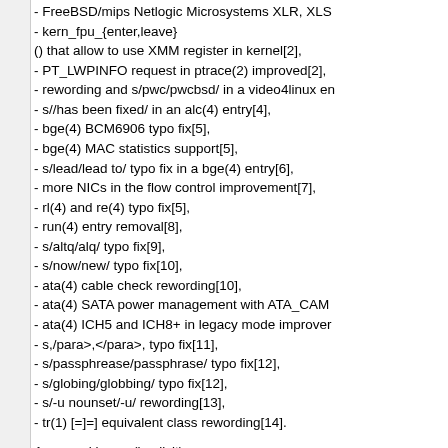- FreeBSD/mips Netlogic Microsystems XLR, XLS
- kern_fpu_{enter,leave}
() that allow to use XMM register in kernel[2],
- PT_LWPINFO request in ptrace(2) improved[2],
- rewording and s/pwc/pwcbsd/ in a video4linux en
- s//has been fixed/ in an alc(4) entry[4],
- bge(4) BCM6906 typo fix[5],
- bge(4) MAC statistics support[5],
- s/lead/lead to/ typo fix in a bge(4) entry[6],
- more NICs in the flow control improvement[7],
- rl(4) and re(4) typo fix[5],
- run(4) entry removal[8],
- s/altq/alq/ typo fix[9],
- s/now/new/ typo fix[10],
- ata(4) cable check rewording[10],
- ata(4) SATA power management with ATA_CAM
- ata(4) ICH5 and ICH8+ in legacy mode improver
- s,/para>,</para>, typo fix[11],
- s/passphrease/passphrase/ typo fix[12],
- s/globing/globbing/ typo fix[12],
- s/-u nounset/-u/ rewording[13],
- tr(1) [=]=] equivalent class rewording[14].
Approved by: re (implicit)
Reviewed and suggested by: kib[2], mav[10], hsel jmallett, yongari[5], bcr[11], brix[11], manolis[3], brucec[3], Jayachandran C.
[1], jilles[13], ohauer[4,14],
pluknet[8,9], lme[3,4,6,11,12], marius[7], and swills[11]